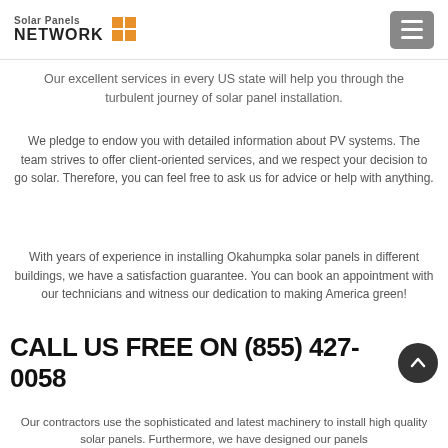Solar Panels NETWORK
Our excellent services in every US state will help you through the turbulent journey of solar panel installation.
We pledge to endow you with detailed information about PV systems. The team strives to offer client-oriented services, and we respect your decision to go solar. Therefore, you can feel free to ask us for advice or help with anything.
With years of experience in installing Okahumpka solar panels in different buildings, we have a satisfaction guarantee. You can book an appointment with our technicians and witness our dedication to making America green!
CALL US FREE ON (855) 427-0058
Our contractors use the sophisticated and latest machinery to install high quality solar panels. Furthermore, we have designed our panels